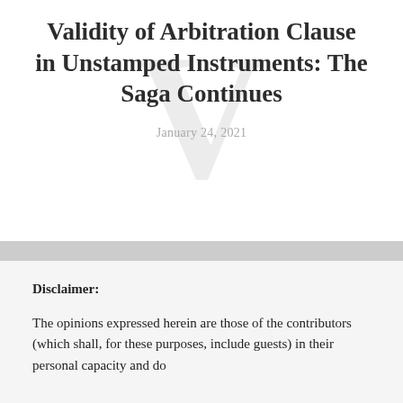Validity of Arbitration Clause in Unstamped Instruments: The Saga Continues
January 24, 2021
Disclaimer:
The opinions expressed herein are those of the contributors (which shall, for these purposes, include guests) in their personal capacity and do not